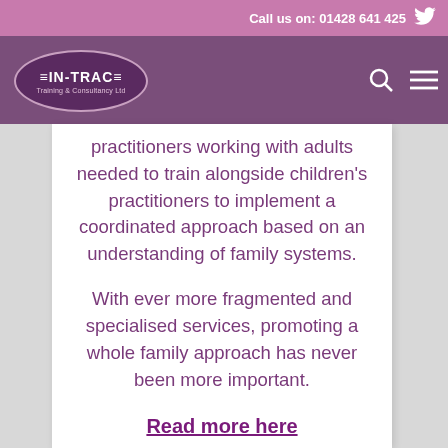Call us on: 01428 641 425
[Figure (logo): IN-TRAC Training & Consultancy Ltd logo in oval shape on purple navigation bar]
practitioners working with adults needed to train alongside children's practitioners to implement a coordinated approach based on an understanding of family systems.
With ever more fragmented and specialised services, promoting a whole family approach has never been more important.
Read more here